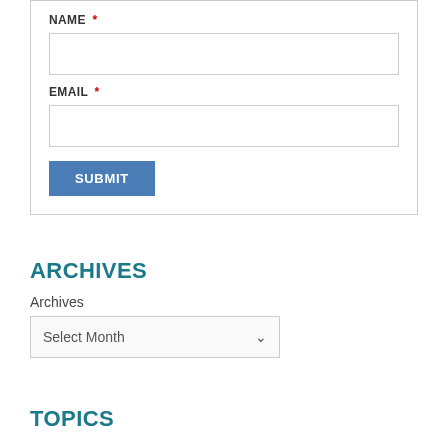NAME *
EMAIL *
SUBMIT
ARCHIVES
Archives
Select Month
TOPICS